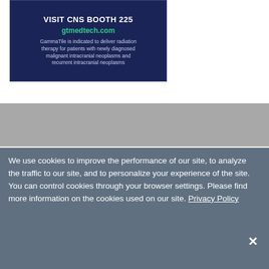[Figure (illustration): Advertisement banner for GammaTile/gtmedtech.com with dark navy blue background showing 'VISIT CNS BOOTH 225', 'gtmedtech.com' in green, and indication text about radiation therapy for intracranial neoplasms]
We use cookies to improve the performance of our site, to analyze the traffic to our site, and to personalize your experience of the site. You can control cookies through your browser settings. Please find more information on the cookies used on our site. Privacy Policy